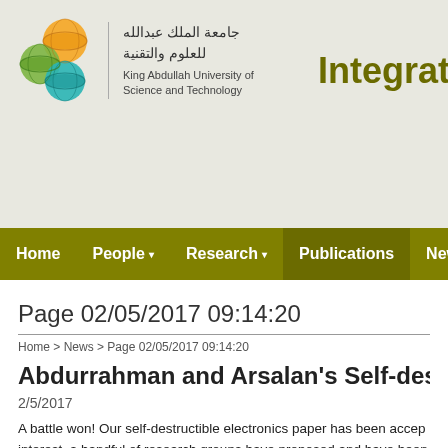[Figure (logo): King Abdullah University of Science and Technology logo with colorful spherical icon and Arabic/English text, and 'Integrated Na...' header text]
Home   People   Research   Publications   News   Collab...
Page 02/05/2017 09:14:20
Home > News > Page 02/05/2017 09:14:20
Abdurrahman and Arsalan's Self-destructible elec...
2/5/2017
A battle won! Our self-destructible electronics paper has been accep... interest, a handful of research groups have proposed and have been ... information also makes us vulnerable to potential invasion of privac... misplaced which contains secured and valuable information. In suc... of the device (e.g. memory or processor) if it's not possible to regai... aluminum, zinc oxide, tungsten, magnesium, etc. which are often us... upon exposure of various liquid medium. However, often these we... materials and their suitable availability at the time of need. Herew...